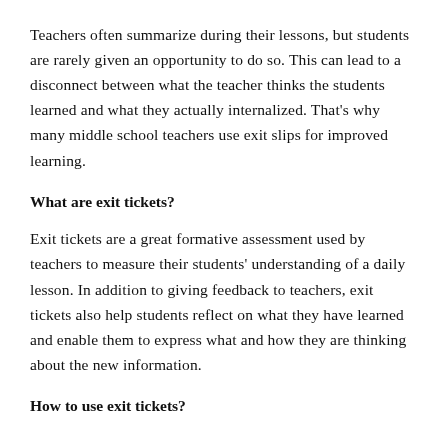Teachers often summarize during their lessons, but students are rarely given an opportunity to do so. This can lead to a disconnect between what the teacher thinks the students learned and what they actually internalized. That's why many middle school teachers use exit slips for improved learning.
What are exit tickets?
Exit tickets are a great formative assessment used by teachers to measure their students' understanding of a daily lesson. In addition to giving feedback to teachers, exit tickets also help students reflect on what they have learned and enable them to express what and how they are thinking about the new information.
How to use exit tickets?